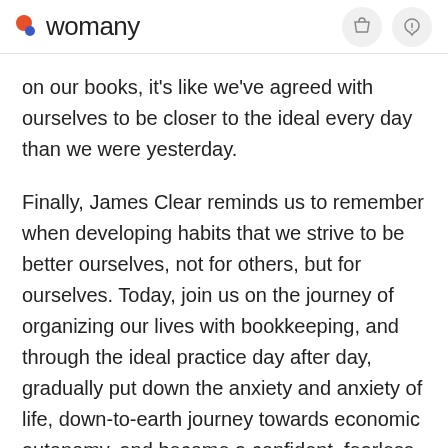womany
on our books, it's like we've agreed with ourselves to be closer to the ideal every day than we were yesterday.
Finally, James Clear reminds us to remember when developing habits that we strive to be better ourselves, not for others, but for ourselves. Today, join us on the journey of organizing our lives with bookkeeping, and through the ideal practice day after day, gradually put down the anxiety and anxiety of life, down-to-earth journey towards economic autonomy, and become a confident, fearless, strong woman...